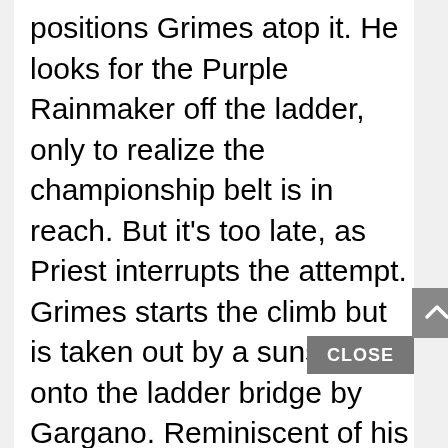positions Grimes atop it. He looks for the Purple Rainmaker off the ladder, only to realize the championship belt is in reach. But it's too late, as Priest interrupts the attempt. Grimes starts the climb but is taken out by a sunset-flip onto the ladder bridge by Gargano. Reminiscent of his ladder-match debut, Dream hits the Dream Valley Driver on Gargano onto another outside ladder bridge. He climbs the middle ladder and is thrown off, landing outside the barricade and through a set of tables. This is carnage! Grimes is all alone, scales the ladder but is stopped by Gargano. He unstraps the belt, but Priest has it gripped as well.